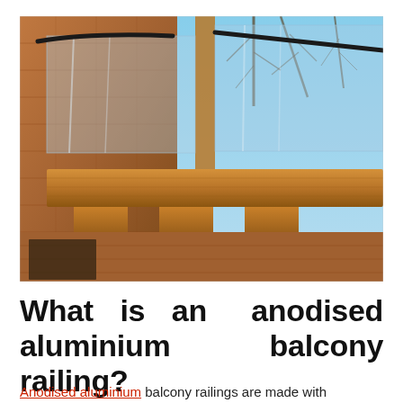[Figure (photo): Photograph of a modern balcony with glass panels and dark metal handrails mounted on a wooden structure attached to a brick building, with bare winter trees visible against a blue sky in the background.]
What is an anodised aluminium balcony railing?
Anodised aluminium balcony railings are made with aluminium that